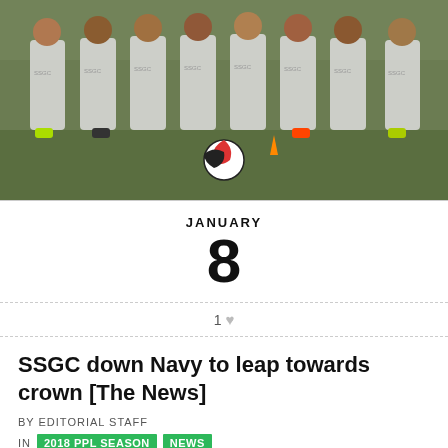[Figure (photo): Soccer team photo showing players in white SSGC jerseys posing on a grass field with a soccer ball in front]
JANUARY 8
1 ♥
SSGC down Navy to leap towards crown [The News]
BY EDITORIAL STAFF
IN 2018 PPL SEASON NEWS
Saadullah fires SSGC top with two goals and a game left in PPFL 2018 season. Ansar Abbas helps Army beat K-Electric.